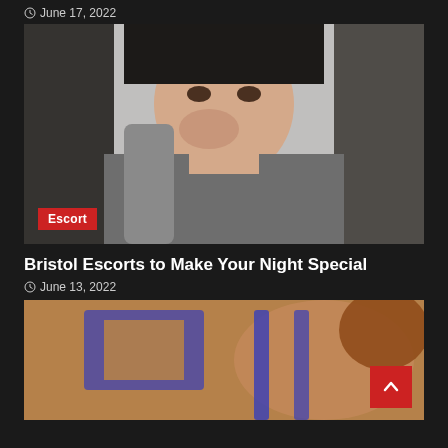June 17, 2022
[Figure (photo): Young woman with long dark hair wearing a grey turtleneck sweater, hand near her face, with a red 'Escort' tag label overlay at bottom left]
Bristol Escorts to Make Your Night Special
June 13, 2022
[Figure (photo): Close-up photo of a woman in a blue lingerie set, blurred/cropped, with a red scroll-to-top arrow button overlay at bottom right]